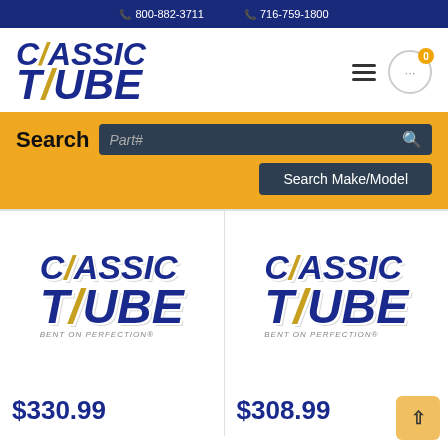📞 800-882-3711  📞 716-759-1800
[Figure (logo): Classic Tube logo with italic bold text and diagonal slash accent]
Search   Part#   Search Make/Model
[Figure (logo): Classic Tube product logo - BENT ON PERFECTION]
[Figure (logo): Classic Tube product logo - BENT ON PERFECTION]
$330.99
$308.99